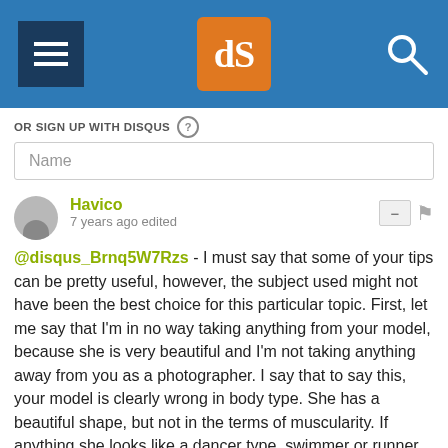[Figure (screenshot): Navigation bar with hamburger menu, dPS logo, and search icon on blue background]
OR SIGN UP WITH DISQUS ?
Name
Havico
7 years ago edited
@disqus_Brnq5W7Rzs - I must say that some of your tips can be pretty useful, however, the subject used might not have been the best choice for this particular topic. First, let me say that I'm in no way taking anything from your model, because she is very beautiful and I'm not taking anything away from you as a photographer. I say that to say this, your model is clearly wrong in body type. She has a beautiful shape, but not in the terms of muscularity. If anything she looks like a dancer type, swimmer or runner type. If you really wanted to drive what you are saying home, you might wanted to use someone that is in fact muscular. A muscular female like this View — disq.us or a body like this https://s-media-cache-ak0.p... maybe this https://s-